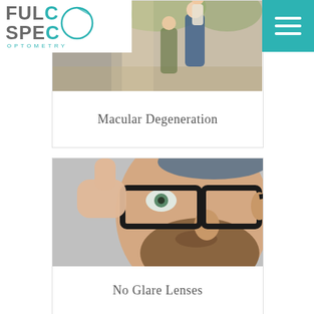[Figure (logo): Full Spectrum Optometry logo with teal circular eye graphic and text FUL SPE OPTOMETRY]
[Figure (photo): Hero image of family outdoors — adult giving child a piggyback ride in autumn park setting]
Macular Degeneration
[Figure (photo): Close-up of a bearded man adjusting black-framed glasses, looking at camera]
No Glare Lenses